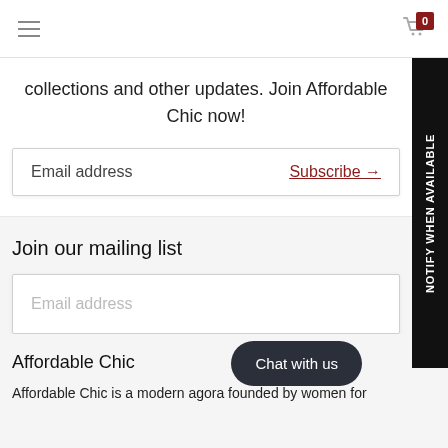≡   [cart icon] 0
collections and other updates. Join Affordable Chic now!
Email address   Subscribe →
Join our mailing list
Email address
Affordable Chic
Affordable Chic is a modern agora founded by women for
NOTIFY WHEN AVAILABLE
Chat with us